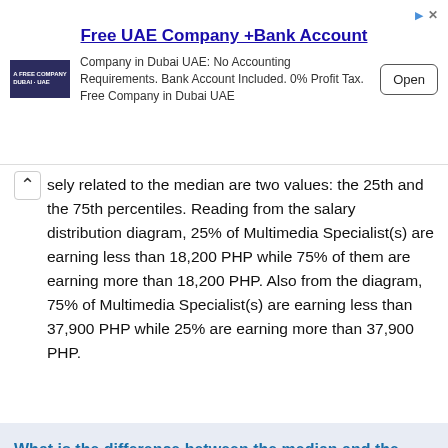[Figure (other): Advertisement banner: Free UAE Company +Bank Account. Company in Dubai UAE: No Accounting Requirements. Bank Account Included. 0% Profit Tax. Free Company in Dubai UAE. Open button.]
sely related to the median are two values: the 25th and the 75th percentiles. Reading from the salary distribution diagram, 25% of Multimedia Specialist(s) are earning less than 18,200 PHP while 75% of them are earning more than 18,200 PHP. Also from the diagram, 75% of Multimedia Specialist(s) are earning less than 37,900 PHP while 25% are earning more than 37,900 PHP.
What is the difference between the median and the average salary?
Both are indicators. If your salary is higher than both of the average and the median then you are